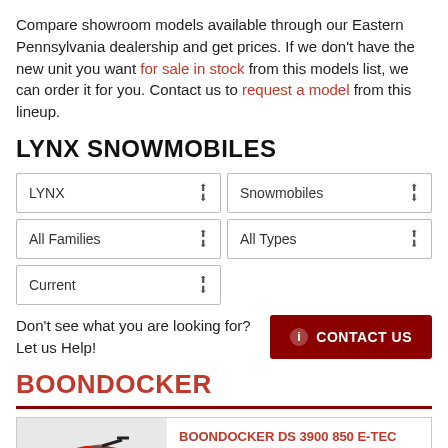Compare showroom models available through our Eastern Pennsylvania dealership and get prices. If we don't have the new unit you want for sale in stock from this models list, we can order it for you. Contact us to request a model from this lineup.
LYNX SNOWMOBILES
| LYNX | Snowmobiles |
| All Families | All Types |
| Current |  |
Don't see what you are looking for? Let us Help!
BOONDOCKER
BOONDOCKER DS 3900 850 E-TEC POWDERMAX LIGHT FLEXEDGE 2.5
MSRP Starting at: $15,699